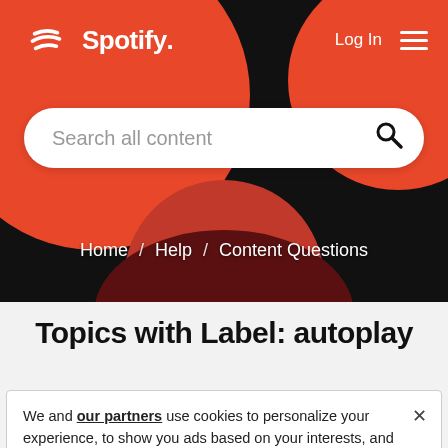[Figure (screenshot): Spotify website hero section with dark background, red decorative circles, Spotify logo and navigation bar at top, search bar with placeholder text, breadcrumb navigation, page title, and cookie consent banner.]
Spotify. Log In [menu]
Search all content
Home / Help / Content Questions
Topics with Label: autoplay
We and our partners use cookies to personalize your experience, to show you ads based on your interests, and for measurement and analytics purposes. By using